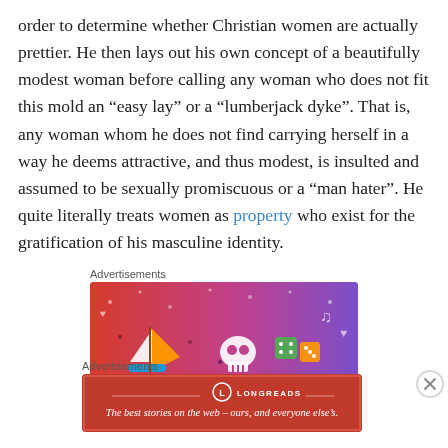order to determine whether Christian women are actually prettier. He then lays out his own concept of a beautifully modest woman before calling any woman who does not fit this mold an “easy lay” or a “lumberjack dyke”. That is, any woman whom he does not find carrying herself in a way he deems attractive, and thus modest, is insulted and assumed to be sexually promiscuous or a “man hater”. He quite literally treats women as property who exist for the gratification of his masculine identity.
Advertisements
[Figure (illustration): Colorful Fandom advertisement banner with cartoon illustrations of a sailboat, skull, dice, musical notes and other icons on a red-to-purple gradient background with the word FANDOM partially visible at the bottom.]
Advertisements
[Figure (illustration): Longreads advertisement banner with a red background, Longreads logo with a circular L icon, and the text: The best stories on the web - ours, and everyone else's.]